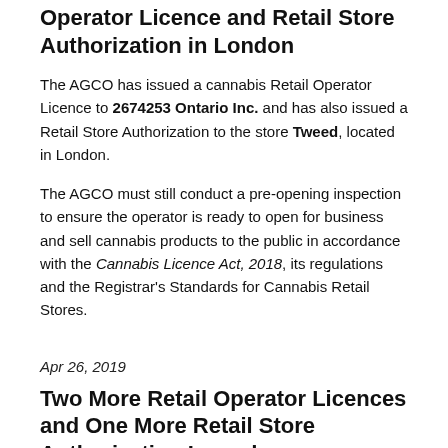AGCO Issues Another Cannabis Retail Operator Licence and Retail Store Authorization in London
The AGCO has issued a cannabis Retail Operator Licence to 2674253 Ontario Inc. and has also issued a Retail Store Authorization to the store Tweed, located in London.
The AGCO must still conduct a pre-opening inspection to ensure the operator is ready to open for business and sell cannabis products to the public in accordance with the Cannabis Licence Act, 2018, its regulations and the Registrar's Standards for Cannabis Retail Stores.
Apr 26, 2019
Two More Retail Operator Licences and One More Retail Store Authorization Issued
The AGCO has approved and issued Retail Operator Licences to Lisa A. Bigioni (West Region) and Dana Michele Kendal (Toronto).
It has also issued a Retail Store Authorization to Choom